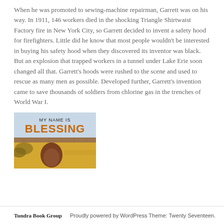When he was promoted to sewing-machine repairman, Garrett was on his way. In 1911, 146 workers died in the shocking Triangle Shirtwaist Factory fire in New York City, so Garrett decided to invent a safety hood for firefighters. Little did he know that most people wouldn't be interested in buying his safety hood when they discovered its inventor was black. But an explosion that trapped workers in a tunnel under Lake Erie soon changed all that. Garrett's hoods were rushed to the scene and used to rescue as many men as possible. Developed further, Garrett's invention came to save thousands of soldiers from chlorine gas in the trenches of World War I.
[Figure (illustration): Book cover of 'My Name is Blessing' showing the title text and an illustration with warm yellow/gold tones and a child's face.]
Tundra Book Group   Proudly powered by WordPress Theme: Twenty Seventeen.